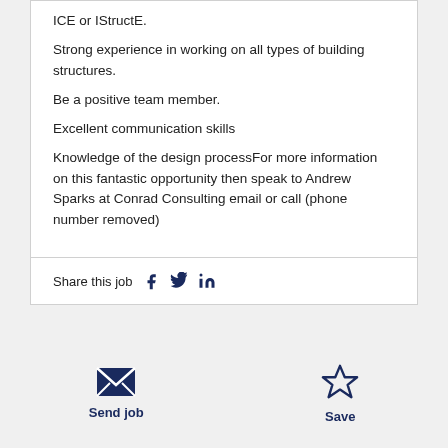ICE or IStructE.
Strong experience in working on all types of building structures.
Be a positive team member.
Excellent communication skills
Knowledge of the design processFor more information on this fantastic opportunity then speak to Andrew Sparks at Conrad Consulting email or call (phone number removed)
Share this job
Send job
Save